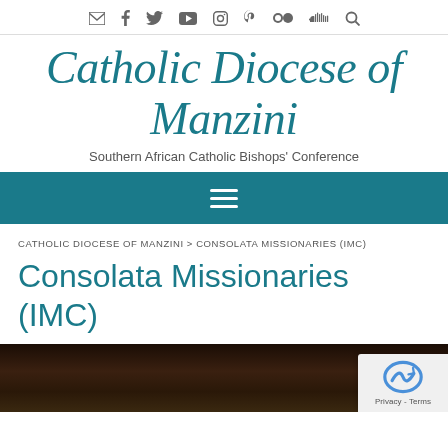Social media and search icons: email, facebook, twitter, youtube, instagram, pinterest, flickr, soundcloud, search
Catholic Diocese of Manzini
Southern African Catholic Bishops' Conference
[Figure (screenshot): Navigation bar with hamburger menu icon on teal/dark cyan background]
CATHOLIC DIOCESE OF MANZINI > CONSOLATA MISSIONARIES (IMC)
Consolata Missionaries (IMC)
[Figure (photo): Photograph of a church interior with dark curtains and decorative elements, partially visible at bottom of page]